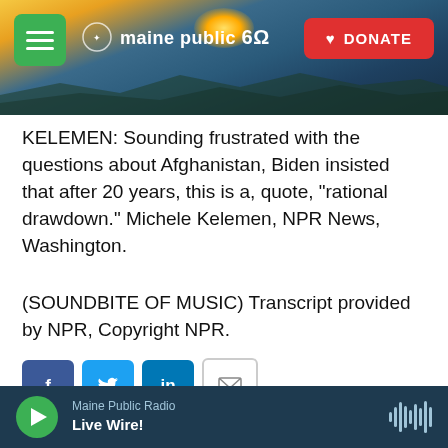Maine Public 60 | DONATE
KELEMEN: Sounding frustrated with the questions about Afghanistan, Biden insisted that after 20 years, this is a, quote, "rational drawdown." Michele Kelemen, NPR News, Washington.
(SOUNDBITE OF MUSIC) Transcript provided by NPR, Copyright NPR.
[Figure (other): Social sharing buttons: Facebook, Twitter, LinkedIn, Email]
[Figure (photo): Headshot photo of Michele Kelemen, a woman with blonde hair]
Michele Kelemen
Maine Public Radio  Live Wire!